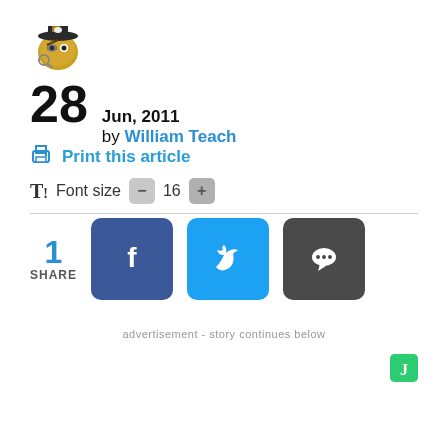[Figure (illustration): Pirate frog avatar/mascot icon]
28 Jun, 2011 by William Teach
Print this article
Font size - 16 +
[Figure (infographic): Social share buttons: 1 SHARE, Facebook, Twitter, Comments]
advertisement - story continues below